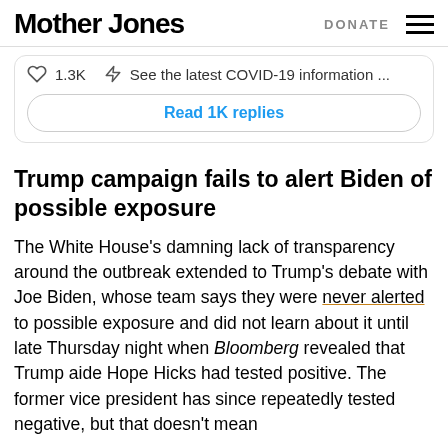Mother Jones   DONATE
[Figure (screenshot): Tweet engagement bar showing heart icon, 1.3K likes, bolt/flash icon, and 'See the latest COVID-19 information ...' text, plus a 'Read 1K replies' button]
Trump campaign fails to alert Biden of possible exposure
The White House's damning lack of transparency around the outbreak extended to Trump's debate with Joe Biden, whose team says they were never alerted to possible exposure and did not learn about it until late Thursday night when Bloomberg revealed that Trump aide Hope Hicks had tested positive. The former vice president has since repeatedly tested negative, but that doesn't mean